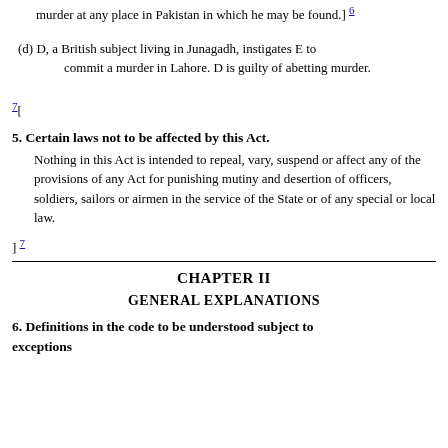murder at any place in Pakistan in which he may be found.] 6
(d) D, a British subject living in Junagadh, instigates E to commit a murder in Lahore. D is guilty of abetting murder.
7[
5. Certain laws not to be affected by this Act.
Nothing in this Act is intended to repeal, vary, suspend or affect any of the provisions of any Act for punishing mutiny and desertion of officers, soldiers, sailors or airmen in the service of the State or of any special or local law.
] 7
CHAPTER II
GENERAL EXPLANATIONS
6. Definitions in the code to be understood subject to exceptions